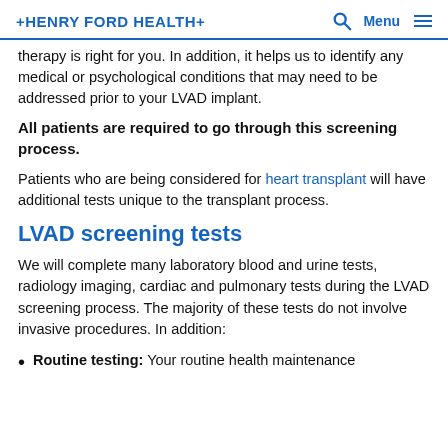HENRY FORD HEALTH+
therapy is right for you. In addition, it helps us to identify any medical or psychological conditions that may need to be addressed prior to your LVAD implant.
All patients are required to go through this screening process.
Patients who are being considered for heart transplant will have additional tests unique to the transplant process.
LVAD screening tests
We will complete many laboratory blood and urine tests, radiology imaging, cardiac and pulmonary tests during the LVAD screening process. The majority of these tests do not involve invasive procedures. In addition:
Routine testing: Your routine health maintenance